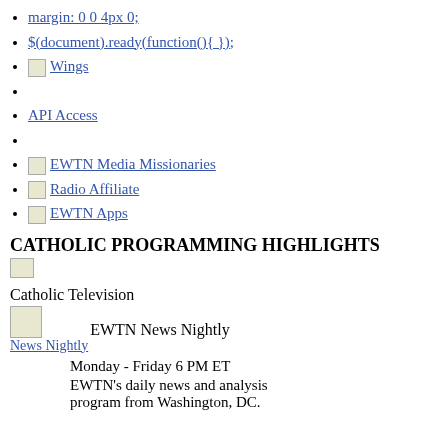margin: 0 0 4px 0;
$(document).ready(function(){});
[img] Wings
API Access
[img] EWTN Media Missionaries
[img] Radio Affiliate
[img] EWTN Apps
CATHOLIC PROGRAMMING HIGHLIGHTS
[Figure (photo): Small broken/placeholder image]
Catholic Television
EWTN News Nightly
Monday - Friday 6 PM ET
EWTN's daily news and analysis program from Washington, DC.